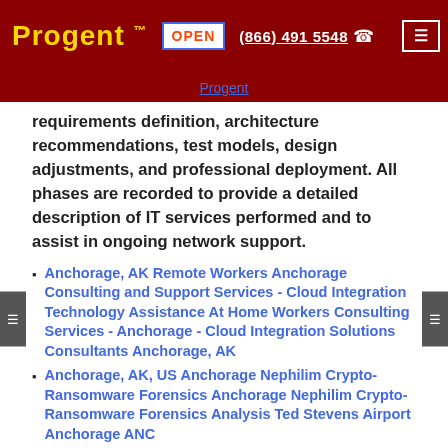Progent™  OPEN  (866) 491 5548  ☎
Progent
requirements definition, architecture recommendations, test models, design adjustments, and professional deployment. All phases are recorded to provide a detailed description of IT services performed and to assist in ongoing network support.
Anchorage, AK Remote Workers Anchorage Consulting and Support Services - Cloud Integration Technology Assistance At Home Workers Consulting Services - Anchorage - Cloud Integration Solutions Consultants Anchorage, AK
Anchorage, AK, US Anchorage Nephilim Crypto-Ransomware Forensics Anchorage Nephilim Crypto-Ransomware Forensics Analysis Ted Stevens Airport Anchorage ANC
At Home Workers Anchorage Expertise - Connectivity Consulting Anchorage, AK Remote Workers Consulting in Anchorage - Connectivity Assistance Anchorage Muldoon Mall, United States